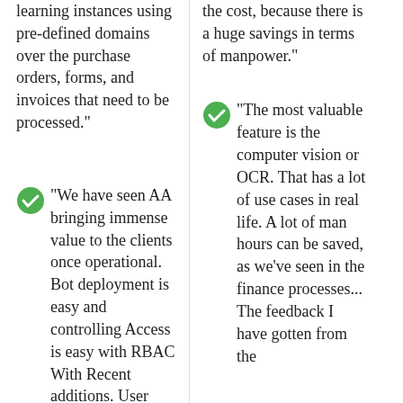learning instances using pre-defined domains over the purchase orders, forms, and invoices that need to be processed."
"We have seen AA bringing immense value to the clients once operational. Bot deployment is easy and controlling Access is easy with RBAC With Recent additions. User groups and user
the cost, because there is a huge savings in terms of manpower."
"The most valuable feature is the computer vision or OCR. That has a lot of use cases in real life. A lot of man hours can be saved, as we've seen in the finance processes... The feedback I have gotten from the